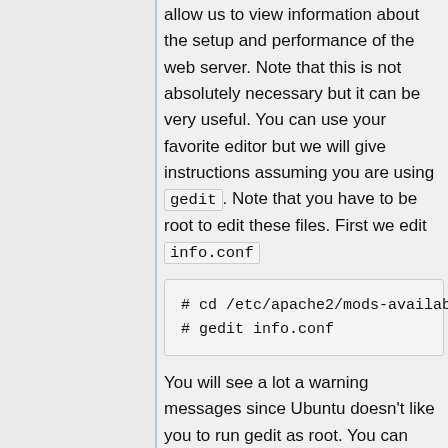allow us to view information about the setup and performance of the web server. Note that this is not absolutely necessary but it can be very useful. You can use your favorite editor but we will give instructions assuming you are using gedit. Note that you have to be root to edit these files. First we edit info.conf
# cd /etc/apache2/mods-available
# gedit info.conf
You will see a lot a warning messages since Ubuntu doesn't like you to run gedit as root. You can ignore these or use sudo instead.
I suggest you allow access to server